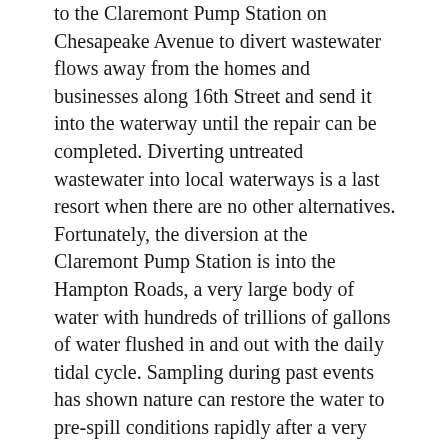to the Claremont Pump Station on Chesapeake Avenue to divert wastewater flows away from the homes and businesses along 16th Street and send it into the waterway until the repair can be completed. Diverting untreated wastewater into local waterways is a last resort when there are no other alternatives. Fortunately, the diversion at the Claremont Pump Station is into the Hampton Roads, a very large body of water with hundreds of trillions of gallons of water flushed in and out with the daily tidal cycle. Sampling during past events has shown nature can restore the water to pre-spill conditions rapidly after a very rare and short duration spill. The Virginia Department of Health has issued an emergency closure to shell fishing in this area.
Crews are performing closed-circuit television (CCTV) work today to inspect and assess the extent of damage to the pipe. Preliminary inspections reveal interior corrosion as the cause of the line break. An